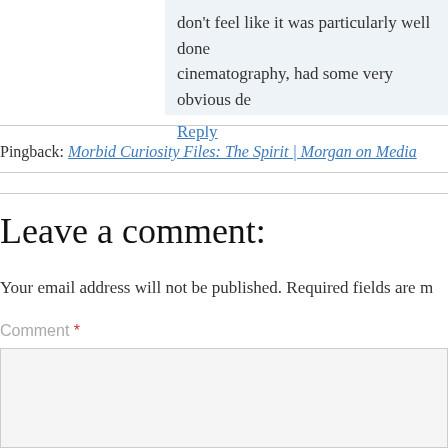don't feel like it was particularly well done cinematography, had some very obvious de
Reply
Pingback: Morbid Curiosity Files: The Spirit | Morgan on Media
Leave a comment:
Your email address will not be published. Required fields are m
Comment *